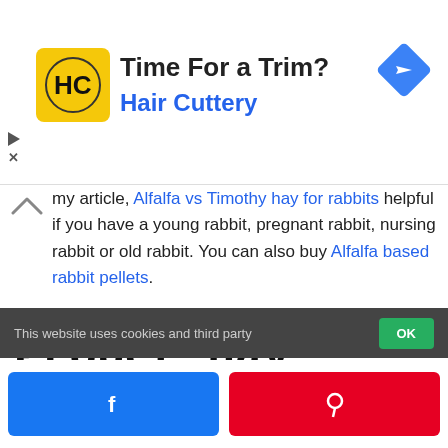[Figure (screenshot): Advertisement banner for Hair Cuttery with logo, text 'Time For a Trim?' and 'Hair Cuttery', and a blue navigation icon on the right.]
my article, Alfalfa vs Timothy hay for rabbits helpful if you have a young rabbit, pregnant rabbit, nursing rabbit or old rabbit. You can also buy Alfalfa based rabbit pellets.
Proper hay storage is important
This website uses cookies and third party
[Figure (screenshot): Social share buttons: Facebook (blue) and Pinterest (red)]